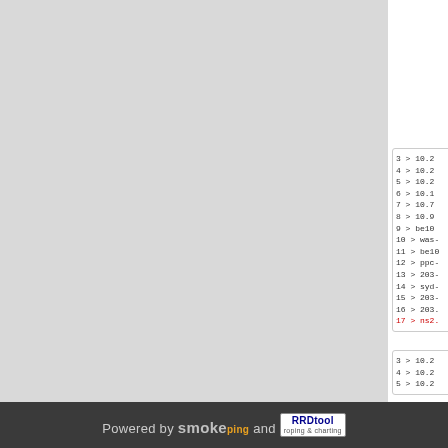[Figure (screenshot): Gray background main content area]
3 > 10.2
4 > 10.2
5 > 10.2
6 > 10.1
7 > 10.7
8 > 10.9
9 > be10
10 > was-
11 > be10
12 > ppc-
13 > 203-
14 > syd-
15 > 203-
16 > 203.
17 > ns2. (highlighted in red)
3 > 10.2
4 > 10.2
5 > 10.2
Powered by smokeping and RRDtool